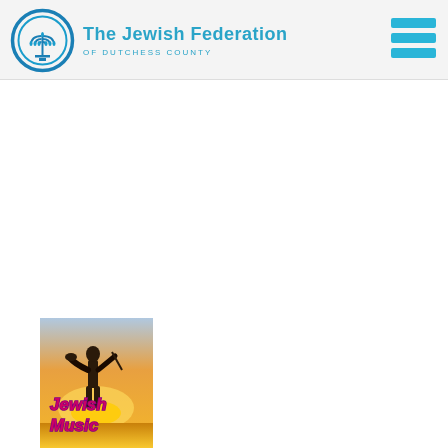[Figure (logo): The Jewish Federation of Dutchess County logo with circular menorah emblem and teal text]
[Figure (other): Hamburger menu icon with three teal horizontal bars]
[Figure (illustration): Jewish Music promotional image showing a silhouetted violin player against a sunset sky, with red/purple decorative text reading 'Jewish Music']